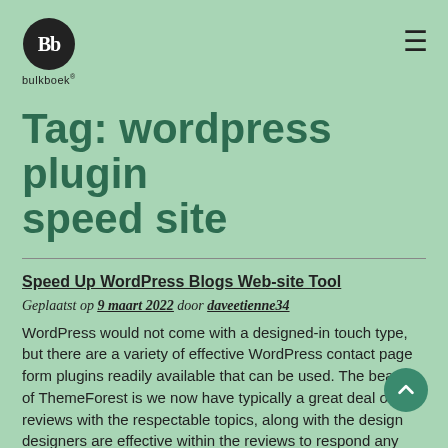Bb bulkboek
Tag: wordpress plugin speed site
Speed Up WordPress Blogs Web-site Tool
Geplaatst op 9 maart 2022 door daveetienne34
WordPress would not come with a designed-in touch type, but there are a variety of effective WordPress contact page form plugins readily available that can be used. The beauty of ThemeForest is we now have typically a great deal of reviews with the respectable topics, along with the design designers are effective within the reviews to respond any inquiries or difficulties. Themeforest manages slightly differently from your past 2. There're